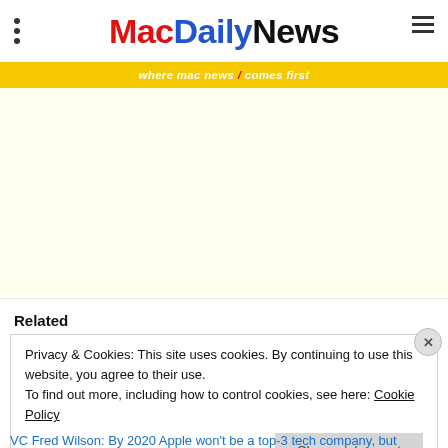MacDailyNews — where mac news / comes first
[Figure (other): Yellow/cream advertisement placeholder area]
Related
Privacy & Cookies: This site uses cookies. By continuing to use this website, you agree to their use. To find out more, including how to control cookies, see here: Cookie Policy
VC Fred Wilson: By 2020 Apple won't be a top-3 tech company, but